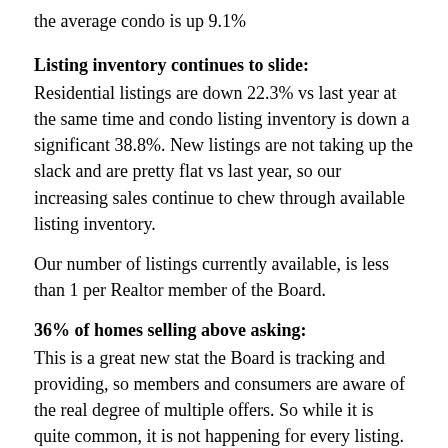the average condo is up 9.1%
Listing inventory continues to slide:
Residential listings are down 22.3% vs last year at the same time and condo listing inventory is down a significant 38.8%.  New listings are not taking up the slack and are pretty flat vs last year, so our increasing sales continue to chew through available listing inventory.
Our number of listings currently available, is less than 1 per Realtor member of the Board.
36% of homes selling above asking:
This is a great new stat the Board is tracking and providing, so members and consumers are aware of the real degree of multiple offers.  So while it is quite common, it is not happening for every listing. The Board noted in its release that in Oct 2018, only